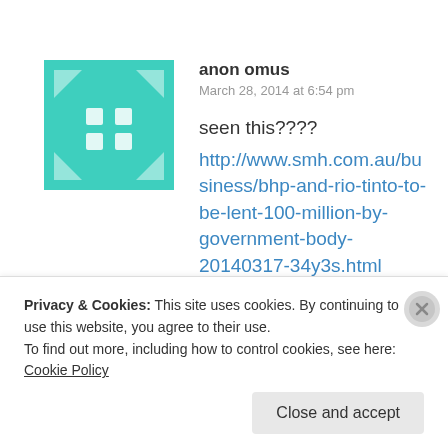anon omus
March 28, 2014 at 6:54 pm
seen this????
http://www.smh.com.au/business/bhp-and-rio-tinto-to-be-lent-100-million-by-government-body-20140317-34y3s.html
Like
Privacy & Cookies: This site uses cookies. By continuing to use this website, you agree to their use.
To find out more, including how to control cookies, see here: Cookie Policy
Close and accept